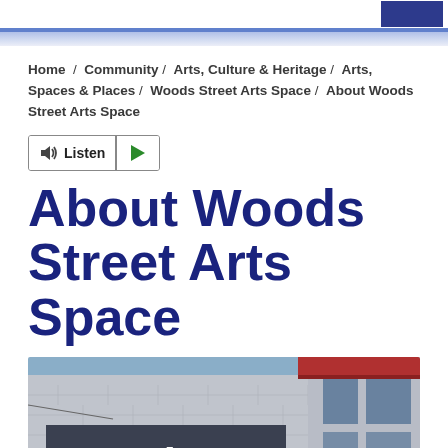Home / Community / Arts, Culture & Heritage / Arts, Spaces & Places / Woods Street Arts Space / About Woods Street Arts Space
Listen ▶
About Woods Street Arts Space
[Figure (photo): Exterior photograph of the Woods Street Arts Space building, showing a grey brick facade with large windows, a red roof/awning, and a sign reading 'woods' in white letters on the building front.]